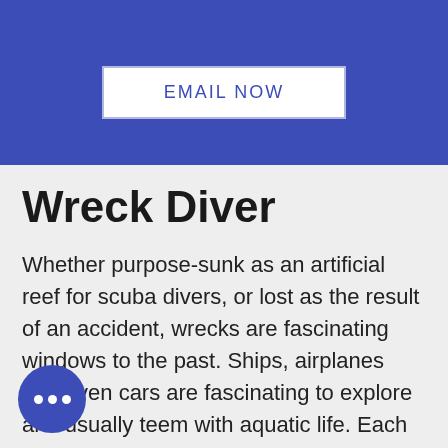[Figure (other): Blue banner background with EMAIL NOW button]
EMAIL NOW
Wreck Diver
Whether purpose-sunk as an artificial reef for scuba divers, or lost as the result of an accident, wrecks are fascinating windows to the past. Ships, airplanes and even cars are fascinating to explore and usually teem with aquatic life. Each wreck dive offers a chance for discovery, potentially unlocking a mystery or spying something others have missed. The PADI Wreck Diver specialty course is popular because it offers rewarding adventures while observing responsible wreck diving